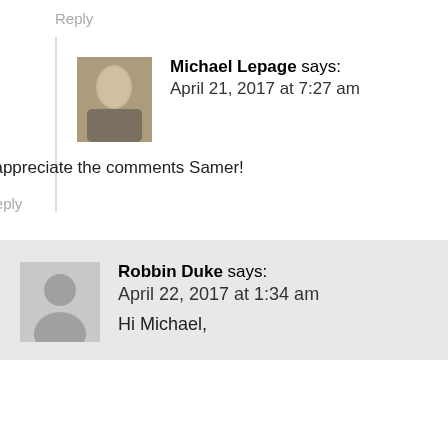Reply
Michael Lepage says:
April 21, 2017 at 7:27 am
I appreciate the comments Samer!
Reply
Robbin Duke says:
April 22, 2017 at 1:34 am
Hi Michael,